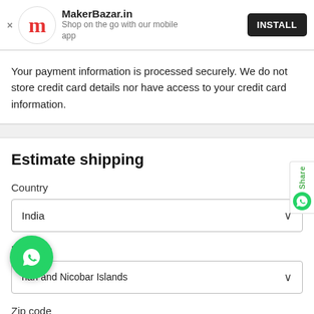[Figure (screenshot): MakerBazar.in app install banner with logo, app name, description and INSTALL button]
Your payment information is processed securely. We do not store credit card details nor have access to your credit card information.
Estimate shipping
Country
India
Province
nan and Nicobar Islands
Zip code